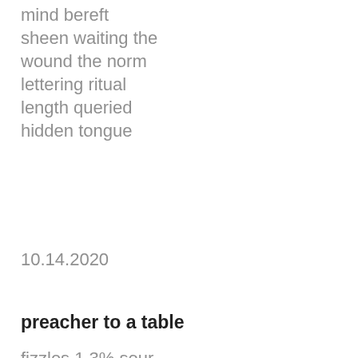mind bereft
sheen waiting the
wound the norm
lettering ritual
length queried
hidden tongue
10.14.2020
preacher to a table
fizzles 1.3% sour
second rote clock
reads boasts
blight slight with
slough transistors
mind beats reft
sheer wailing the
sound the storm
littering mutual